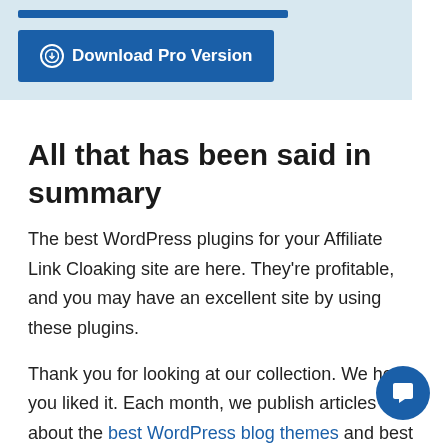[Figure (other): Download Pro Version button panel with light blue background, a dark blue bar at top and a blue 'Download Pro Version' button with download circle icon]
All that has been said in summary
The best WordPress plugins for your Affiliate Link Cloaking site are here. They're profitable, and you may have an excellent site by using these plugins.
Thank you for looking at our collection. We hope you liked it. Each month, we publish articles about the best WordPress blog themes and best WordPress plugins for bloggers. You can